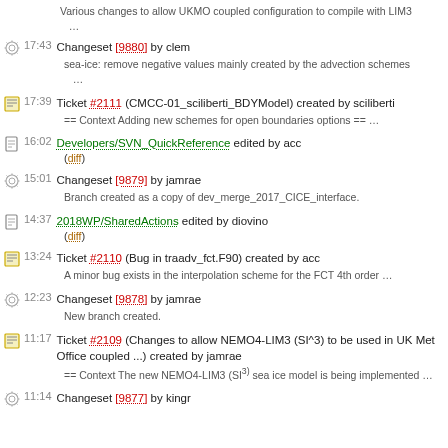Various changes to allow UKMO coupled configuration to compile with LIM3 …
17:43 Changeset [9880] by clem — sea-ice: remove negative values mainly created by the advection schemes …
17:39 Ticket #2111 (CMCC-01_sciliberti_BDYModel) created by sciliberti — == Context Adding new schemes for open boundaries options == …
16:02 Developers/SVN_QuickReference edited by acc (diff)
15:01 Changeset [9879] by jamrae — Branch created as a copy of dev_merge_2017_CICE_interface.
14:37 2018WP/SharedActions edited by diovino (diff)
13:24 Ticket #2110 (Bug in traadv_fct.F90) created by acc — A minor bug exists in the interpolation scheme for the FCT 4th order …
12:23 Changeset [9878] by jamrae — New branch created.
11:17 Ticket #2109 (Changes to allow NEMO4-LIM3 (SI^3) to be used in UK Met Office coupled ...) created by jamrae — == Context The new NEMO4-LIM3 (SI^3) sea ice model is being implemented …
11:14 Changeset [9877] by kingr